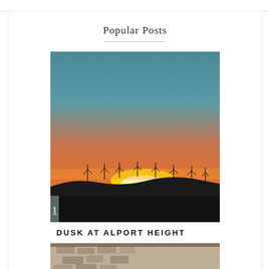Popular Posts
[Figure (photo): Sunset landscape photo showing orange and teal sky with silhouetted wind turbines on a hill at dusk]
DUSK AT ALPORT HEIGHT
[Figure (photo): Partial view of a second photo showing a building/structure, partially visible at bottom of page]